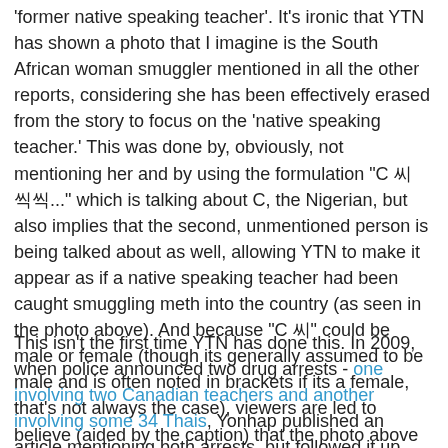'former native speaking teacher'. It's ironic that YTN has shown a photo that I imagine is the South African woman smuggler mentioned in all the other reports, considering she has been effectively erased from the story to focus on the 'native speaking teacher.' This was done by, obviously, not mentioning her and by using the formulation "C 씨 씩씩..." which is talking about C, the Nigerian, but also implies that the second, unmentioned person is being talked about as well, allowing YTN to make it appear as if a native speaking teacher had been caught smuggling meth into the country (as seen in the photo above). And because "C 씨" could be male or female (though its generally assumed to be male and is often noted in brackets if its a female, that's not always the case), viewers are led to believe (aided by the caption) that the photo above is of the invented Nigerian native speaking teacher smuggler.
This isn't the first time YTN has done this. In 2009, when police announced two drug arrests - one involving two Canadian teachers and another involving some 34 Thais, Yonhap published an article mentioning both arrests, but followed it up with another that focused almost entirely on